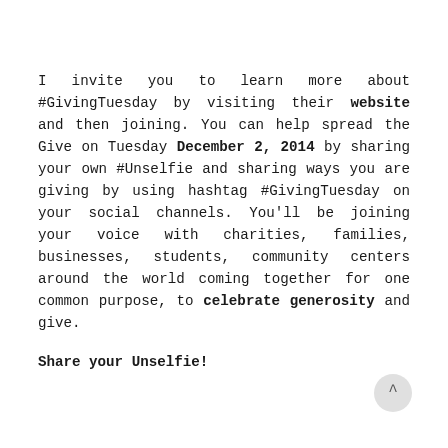I invite you to learn more about #GivingTuesday by visiting their website and then joining. You can help spread the Give on Tuesday December 2, 2014 by sharing your own #Unselfie and sharing ways you are giving by using hashtag #GivingTuesday on your social channels. You'll be joining your voice with charities, families, businesses, students, community centers around the world coming together for one common purpose, to celebrate generosity and give.
Share your Unselfie!